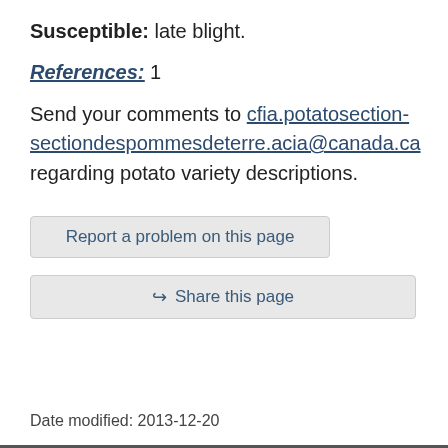Susceptible: late blight.
References: 1
Send your comments to cfia.potatosection-sectiondespommesdeterre.acia@canada.ca regarding potato variety descriptions.
Report a problem on this page
Share this page
Date modified: 2013-12-20